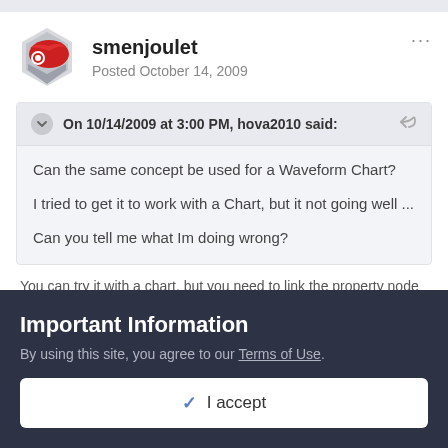smenjoulet
Posted October 14, 2009
On 10/14/2009 at 3:00 PM, hova2010 said:
Can the same concept be used for a Waveform Chart?

I tried to get it to work with a Chart, but it not going well ...

Can you tell me what Im doing wrong?
You can try it with a chart, but you need to link the property node
Important Information
By using this site, you agree to our Terms of Use.
✓  I accept